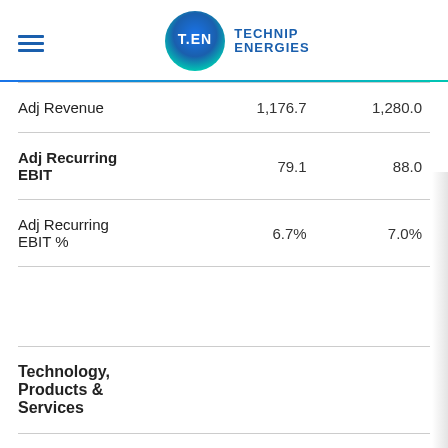Technip Energies
|  |  |  |
| --- | --- | --- |
| Adj Revenue | 1,176.7 | 1,280.0 |
| Adj Recurring EBIT | 79.1 | 88.0 |
| Adj Recurring EBIT % | 6.7% | 7.0% |
| Technology, Products & Services |  |  |